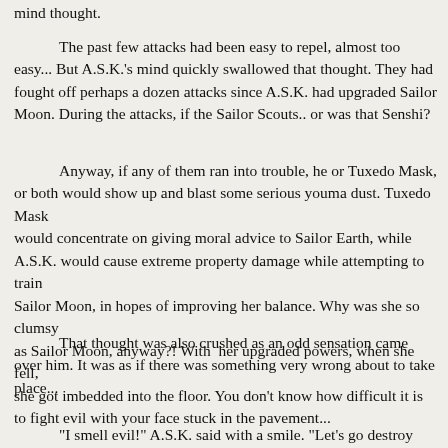mind thought.
The past few attacks had been easy to repel, almost too easy... But A.S.K.'s mind quickly swallowed that thought. They had fought off perhaps a dozen attacks since A.S.K. had upgraded Sailor Moon. During the attacks, if the Sailor Scouts.. or was that Senshi?
Anyway, if any of them ran into trouble, he or Tuxedo Mask, or both would show up and blast some serious youma dust. Tuxedo Mask
would concentrate on giving moral advice to Sailor Earth, while A.S.K. would cause extreme property damage while attempting to train
Sailor Moon, in hopes of improving her balance. Why was she so clumsy
as Sailor Moon, anyway?! With  her upgraded powers, when she fell,
she got imbedded into the floor. You don't know how difficult it is to fight evil with your face stuck in the pavement...
That thought was also crushed as an odd sensation came over him. It was as if there was something very wrong about to take place...
"I smell evil!" A.S.K. said with a smile. "Let's go destroy